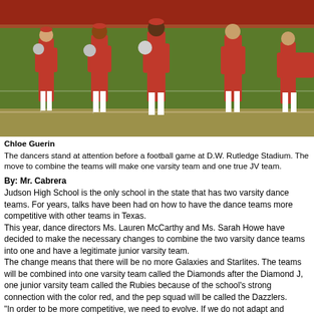[Figure (photo): Dancers in red uniforms standing at attention on a football field at D.W. Rutledge Stadium, holding pom-poms, wearing white boots.]
Chloe Guerin
The dancers stand at attention before a football game at D.W. Rutledge Stadium. The move to combine the teams will make one varsity team and one true JV team.
By: Mr. Cabrera
Judson High School is the only school in the state that has two varsity dance teams. For years, talks have been had on how to have the dance teams more competitive with other teams in Texas.
This year, dance directors Ms. Lauren McCarthy and Ms. Sarah Howe have decided to make the necessary changes to combine the two varsity dance teams into one and have a legitimate junior varsity team.
The change means that there will be no more Galaxies and Starlites. The teams will be combined into one varsity team called the Diamonds after the Diamond J, one junior varsity team called the Rubies because of the school's strong connection with the color red, and the pep squad will be called the Dazzlers.
"In order to be more competitive, we need to evolve. If we do not adapt and evolve, we will become irrelevant," Howe said.
The department has two teams that do two completely different types of dancing. If they are combined into one, the team can do all the necessary dance skills in order...